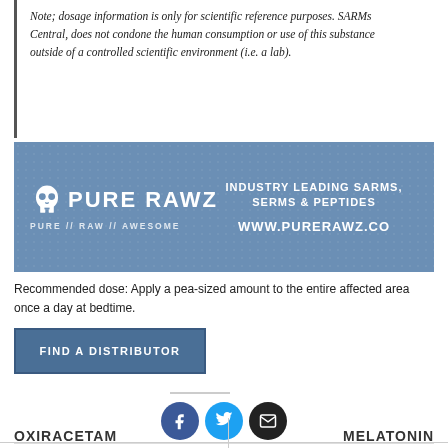Note; dosage information is only for scientific reference purposes. SARMs Central, does not condone the human consumption or use of this substance outside of a controlled scientific environment (i.e. a lab).
[Figure (illustration): PureRawz advertisement banner with skull logo. Text reads: INDUSTRY LEADING SARMS, SERMS & PEPTIDES | PURE // RAW // AWESOME | WWW.PURERAWZ.CO]
Recommended dose: Apply a pea-sized amount to the entire affected area once a day at bedtime.
FIND A DISTRIBUTOR
[Figure (infographic): Social sharing icons: Facebook (blue circle), Twitter (blue circle), Email (black circle)]
This entry was posted in Other Compounds. Bookmark the permalink.
OXIRACETAM
MELATONIN